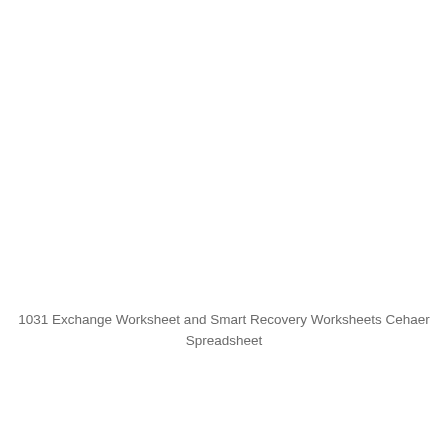1031 Exchange Worksheet and Smart Recovery Worksheets Cehaer Spreadsheet